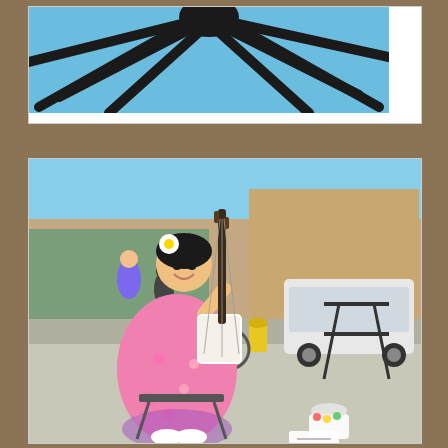[Figure (photo): Partial view of a large spider sculpture against a bright blue sky, showing the dark metal legs from below]
[Figure (photo): A woman wearing a pink floral kimono and white flower hair ornament sits on a folding chair on a city sidewalk, smiling and playing a shamisen (traditional Japanese three-stringed instrument). She is performing as a street musician. Behind her are other pedestrians, a bicycle, a white SUV, a yellow fire hydrant, and city buildings. Small items including what appears to be a tip bag are on the ground near her feet.]